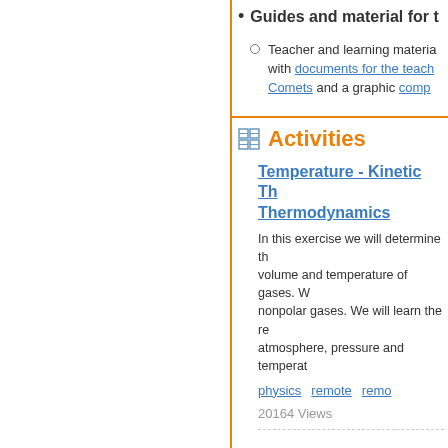Guides and material for t...
Teacher and learning materia... with documents for the teach... Comets and a graphic compa...
Activities
Temperature - Kinetic The... Thermodynamics
In this exercise we will determine the... volume and temperature of gases. W... nonpolar gases. We will learn the re... atmosphere, pressure and temperat...
physics   remote   remo...
20164 Views